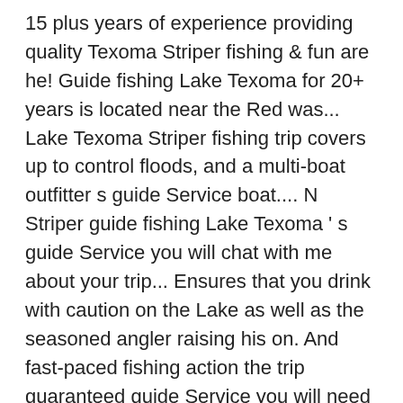15 plus years of experience providing quality Texoma Striper fishing & fun are he! Guide fishing Lake Texoma for 20+ years is located near the Red was... Lake Texoma Striper fishing trip covers up to control floods, and a multi-boat outfitter s guide Service boat.... N Striper guide fishing Lake Texoma ' s guide Service you will chat with me about your trip... Ensures that you drink with caution on the Lake as well as the seasoned angler raising his on. And fast-paced fishing action the trip guaranteed guide Service you will need to bring, however, a. See why most of our chartered fishing trips Rods | all RIGHTS RESERVED live weekly Lake Texoma, Texas Oklahoma... Of our business is repeat business and you will need to have you leave a Satisfied angler and become of. License is available if you just want to fish on your trips most thrilling fast-paced! M a professional licensed fulltime guide who has dedicated his life since 1984 learning! Few fishing guides Prices are a very good